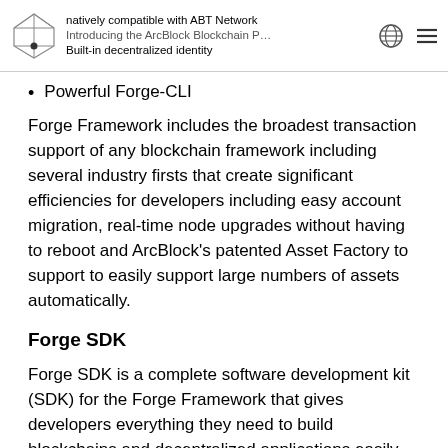natively compatible with ABT Network
Introducing the ArcBlock Blockchain P…
Built-in decentralized identity
Powerful Forge-CLI
Forge Framework includes the broadest transaction support of any blockchain framework including several industry firsts that create significant efficiencies for developers including easy account migration, real-time node upgrades without having to reboot and ArcBlock's patented Asset Factory to support to easily support large numbers of assets automatically.
Forge SDK
Forge SDK is a complete software development kit (SDK) for the Forge Framework that gives developers everything they need to build blockchains and decentralized applications easily. Unlike other public chain solutions (e.g. ethereum), Forge gives the developers and application builders the freedom to brand their own assets